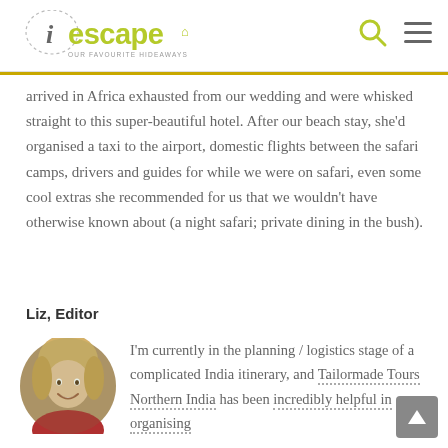iescape OUR FAVOURITE HIDEAWAYS
arrived in Africa exhausted from our wedding and were whisked straight to this super-beautiful hotel. After our beach stay, she'd organised a taxi to the airport, domestic flights between the safari camps, drivers and guides for while we were on safari, even some cool extras she recommended for us that we wouldn't have otherwise known about (a night safari; private dining in the bush).
Liz, Editor
[Figure (photo): Circular profile photo of a smiling blonde woman wearing a red top]
I'm currently in the planning / logistics stage of a complicated India itinerary, and Tailormade Tours Northern India has been incredibly helpful in organising...